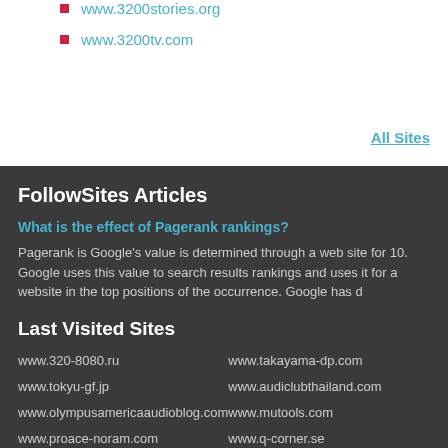www.3200stories.org
www.3200tv.com
All Sites
FollowSites Articles
What is the effect of Pagerank rankings?
Pagerank is Google's value is determined through a web site for 10. Google uses this value to search results rankings and uses it for a website in the top positions of the occurrence. Google has d
Last Visited Sites
www.320-8080.ru
www.tokyu-gf.jp
www.olympusamericaaudioblog.com
www.proace-noram.com
www.d3m0ndarks.tumblr.com
www.hoerbuch.in
www.takayama-dp.com
www.audiclubthailand.com
www.mutools.com
www.q-corner.se
www.miknatisteknik.com
www.22blue.co.uk